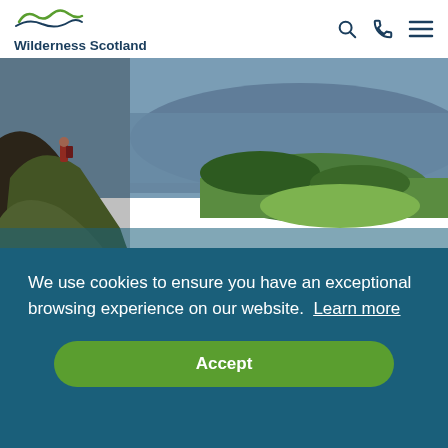Wilderness Scotland
[Figure (photo): A hiker in red jacket on a steep grassy hillside overlooking a large loch (lake) with forested peninsulas and green fields in the distance under a cloudy sky in Scotland.]
We use cookies to ensure you have an exceptional browsing experience on our website. Learn more
Accept